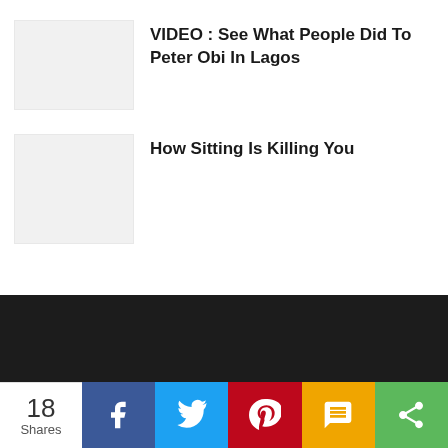[Figure (photo): Thumbnail placeholder for article about Peter Obi in Lagos]
VIDEO : See What People Did To Peter Obi In Lagos
[Figure (photo): Thumbnail placeholder for article about sitting killing you]
How Sitting Is Killing You
18 Shares | Facebook | Twitter | Pinterest | SMS | Share